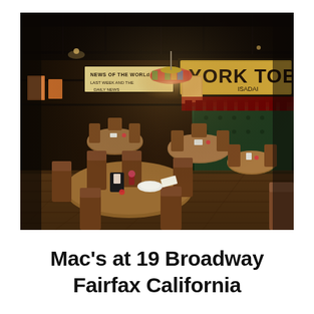[Figure (photo): Interior of Mac's at 19 Broadway restaurant in Fairfax, California. Dark wood paneling, round wooden tables with chairs, tiffany-style hanging lamp, green leather booths along the right wall, and a sign reading 'YORK TOB' visible in the background. Dim, warm lighting creates a classic bar/restaurant atmosphere.]
Mac's at 19 Broadway Fairfax California